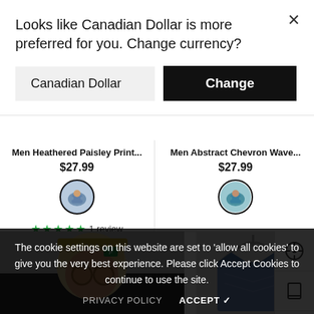Looks like Canadian Dollar is more preferred for you. Change currency?
Canadian Dollar
Change
Men Heathered Paisley Print...
$27.99
1 review
Men Abstract Chevron Wave...
$27.99
[Figure (screenshot): Product thumbnail of men's shirt in blue/purple shown in a circle swatch with dark border]
[Figure (screenshot): Product thumbnail of men's shirt in blue/teal shown in a circle swatch with dark border]
[Figure (photo): Man wearing a beanie hat and large round glasses, partial view, shopping site product photo]
[Figure (photo): Men's shirt on a hanger, partial product photo]
The cookie settings on this website are set to 'allow all cookies' to give you the very best experience. Please click Accept Cookies to continue to use the site.
PRIVACY POLICY   ACCEPT ✓